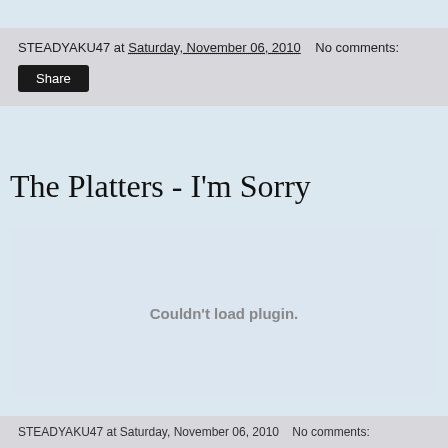STEADYAKU47 at Saturday, November 06, 2010   No comments:
Share
The Platters - I'm Sorry
[Figure (other): Embedded media plugin area showing 'Couldn't load plugin.' message]
STEADYAKU47 at Saturday, November 06, 2010   No comments: